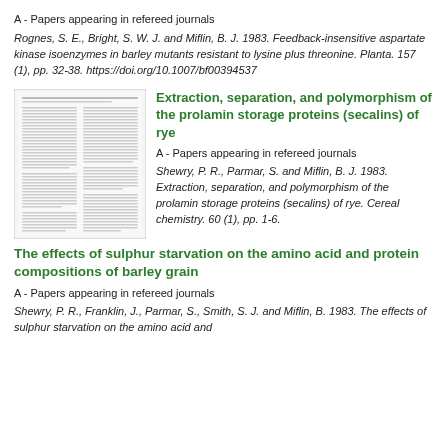A - Papers appearing in refereed journals
Rognes, S. E., Bright, S. W. J. and Miflin, B. J. 1983. Feedback-insensitive aspartate kinase isoenzymes in barley mutants resistant to lysine plus threonine. Planta. 157 (1), pp. 32-38. https://doi.org/10.1007/bf00394537
Extraction, separation, and polymorphism of the prolamin storage proteins (secalins) of rye
[Figure (screenshot): Thumbnail image of a journal article page showing dense text in two columns]
A - Papers appearing in refereed journals
Shewry, P. R., Parmar, S. and Miflin, B. J. 1983. Extraction, separation, and polymorphism of the prolamin storage proteins (secalins) of rye. Cereal chemistry. 60 (1), pp. 1-6.
The effects of sulphur starvation on the amino acid and protein compositions of barley grain
A - Papers appearing in refereed journals
Shewry, P. R., Franklin, J., Parmar, S., Smith, S. J. and Miflin, B. 1983. The effects of sulphur starvation on the amino acid and